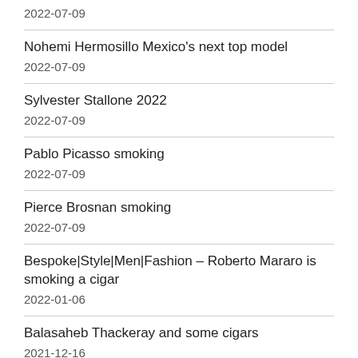2022-07-09
Nohemi Hermosillo Mexico's next top model
2022-07-09
Sylvester Stallone 2022
2022-07-09
Pablo Picasso smoking
2022-07-09
Pierce Brosnan smoking
2022-07-09
Bespoke|Style|Men|Fashion – Roberto Mararo is smoking a cigar
2022-01-06
Balasaheb Thackeray and some cigars
2021-12-16
TOP 88 Cigar Babes